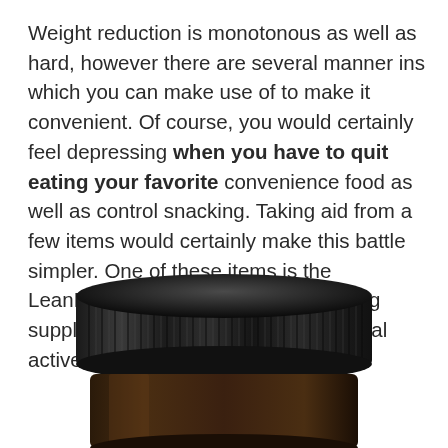Weight reduction is monotonous as well as hard, however there are several manner ins which you can make use of to make it convenient. Of course, you would certainly feel depressing when you have to quit eating your favorite convenience food as well as control snacking. Taking aid from a few items would certainly make this battle simpler. One of these items is the LeanBiome dietary blend, a fat burning supplement made with 100% all-natural active ingredients.
[Figure (photo): Close-up photo of a supplement jar with a black ribbed screw-top lid and a dark amber/brown glass body, viewed from above and slightly to the side, cropped at the bottom of the frame.]